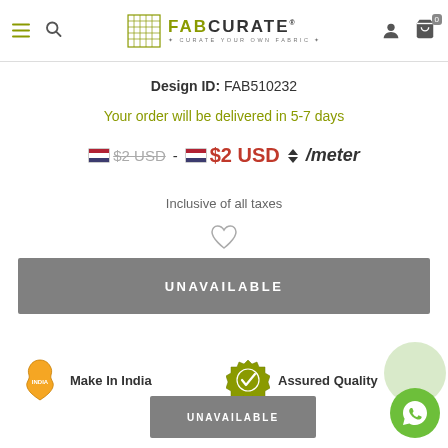FabCurate - Curate Your Own Fabric
Design ID: FAB510232
Your order will be delivered in 5-7 days
$2 USD - $2 USD /meter
Inclusive of all taxes
UNAVAILABLE
[Figure (logo): Make In India badge with India map icon]
[Figure (logo): Assured Quality badge with checkmark seal]
UNAVAILABLE